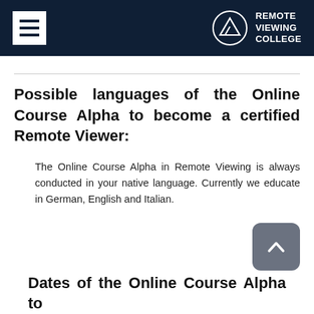Remote Viewing College
Possible languages of the Online Course Alpha to become a certified Remote Viewer:
The Online Course Alpha in Remote Viewing is always conducted in your native language. Currently we educate in German, English and Italian.
Dates of the Online Course Alpha to